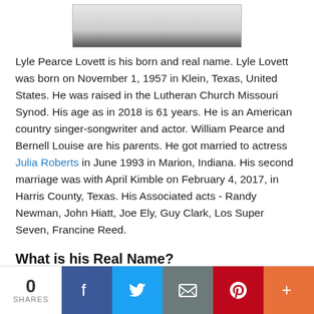[Figure (photo): Partial photo of Lyle Lovett, cropped showing only the lower portion of a person against a light background]
Lyle Pearce Lovett is his born and real name. Lyle Lovett was born on November 1, 1957 in Klein, Texas, United States. He was raised in the Lutheran Church Missouri Synod. His age as in 2018 is 61 years. He is an American country singer-songwriter and actor. William Pearce and Bernell Louise are his parents. He got married to actress Julia Roberts in June 1993 in Marion, Indiana. His second marriage was with April Kimble on February 4, 2017, in Harris County, Texas. His Associated acts - Randy Newman, John Hiatt, Joe Ely, Guy Clark, Los Super Seven, Francine Reed.
What is his Real Name?
His real name is Lyle Pearce Lovett